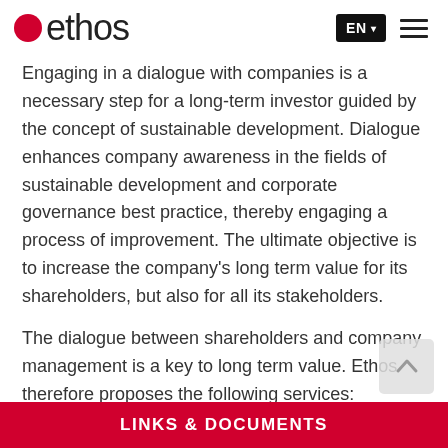ethos EN
Engaging in a dialogue with companies is a necessary step for a long-term investor guided by the concept of sustainable development. Dialogue enhances company awareness in the fields of sustainable development and corporate governance best practice, thereby engaging a process of improvement. The ultimate objective is to increase the company’s long term value for its shareholders, but also for all its stakeholders.
The dialogue between shareholders and company management is a key to long term value. Ethos therefore proposes the following services:
Ethos Engagement Pool Switzerland
LINKS & DOCUMENTS